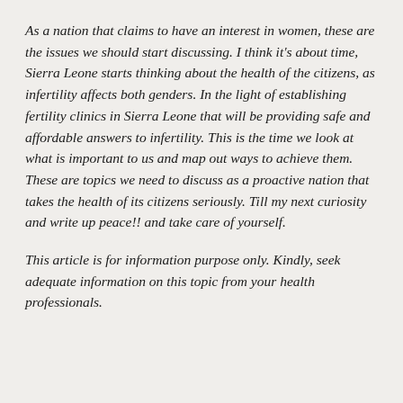As a nation that claims to have an interest in women, these are the issues we should start discussing. I think it's about time, Sierra Leone starts thinking about the health of the citizens, as infertility affects both genders. In the light of establishing fertility clinics in Sierra Leone that will be providing safe and affordable answers to infertility. This is the time we look at what is important to us and map out ways to achieve them. These are topics we need to discuss as a proactive nation that takes the health of its citizens seriously. Till my next curiosity and write up peace!! and take care of yourself.
This article is for information purpose only. Kindly, seek adequate information on this topic from your health professionals.